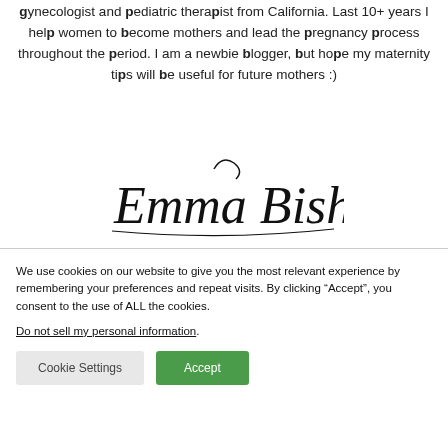gynecologist and pediatric therapist from California. Last 10+ years I help women to become mothers and lead the pregnancy process throughout the period. I am a newbie blogger, but hope my maternity tips will be useful for future mothers :)
[Figure (illustration): Cursive handwritten signature reading 'Emma Bishop']
We use cookies on our website to give you the most relevant experience by remembering your preferences and repeat visits. By clicking “Accept”, you consent to the use of ALL the cookies.
Do not sell my personal information.